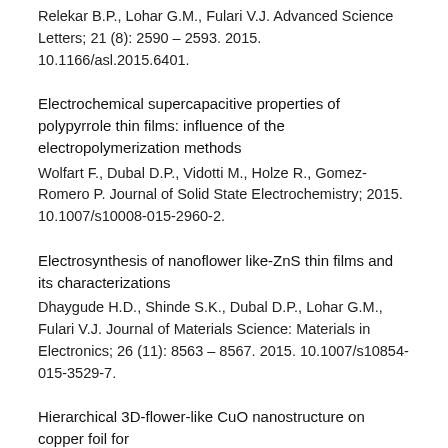Relekar B.P., Lohar G.M., Fulari V.J. Advanced Science Letters; 21 (8): 2590 – 2593. 2015. 10.1166/asl.2015.6401.
Electrochemical supercapacitive properties of polypyrrole thin films: influence of the electropolymerization methods
Wolfart F., Dubal D.P., Vidotti M., Holze R., Gomez-Romero P. Journal of Solid State Electrochemistry; 2015. 10.1007/s10008-015-2960-2.
Electrosynthesis of nanoflower like-ZnS thin films and its characterizations
Dhaygude H.D., Shinde S.K., Dubal D.P., Lohar G.M., Fulari V.J. Journal of Materials Science: Materials in Electronics; 26 (11): 8563 – 8567. 2015. 10.1007/s10854-015-3529-7.
Hierarchical 3D-flower-like CuO nanostructure on copper foil for